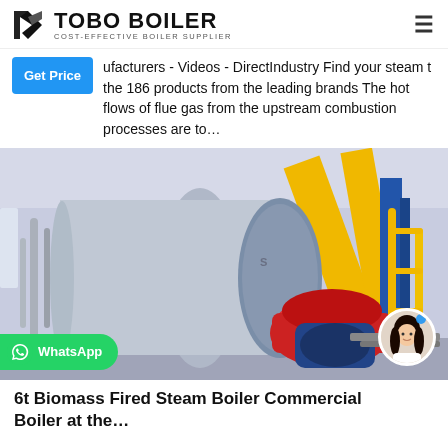TOBO BOILER - COST-EFFECTIVE BOILER SUPPLIER
ufacturers - Videos - DirectIndustry Find your steam t the 186 products from the leading brands The hot flows of flue gas from the upstream combustion processes are to…
[Figure (photo): Industrial boiler in a facility with yellow pipes, blue boiler body, red burner, and a WhatsApp contact badge with a female avatar.]
6t Biomass Fired Steam Boiler Commercial